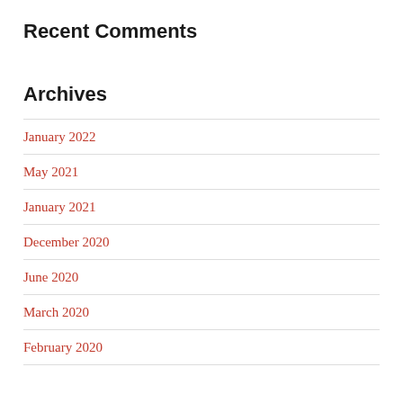Recent Comments
Archives
January 2022
May 2021
January 2021
December 2020
June 2020
March 2020
February 2020